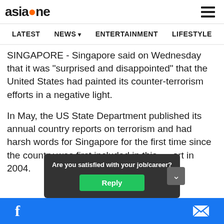asiaone — navigation header with hamburger menu
LATEST | NEWS | ENTERTAINMENT | LIFESTYLE | D
SINGAPORE - Singapore said on Wednesday that it was "surprised and disappointed" that the United States had painted its counter-terrorism efforts in a negative light.
In May, the US State Department published its annual country reports on terrorism and had harsh words for Singapore for the first time since the country was first included in this report in 2004.
Are you satisfied with your job/career?
Reply